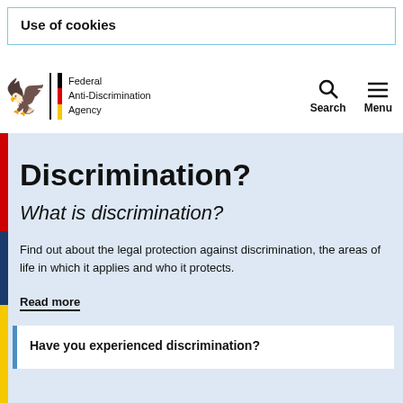Use of cookies
[Figure (logo): Federal Anti-Discrimination Agency logo with German eagle and flag stripe]
Search  Menu
Discrimination?
What is discrimination?
Find out about the legal protection against discrimination, the areas of life in which it applies and who it protects.
Read more
Have you experienced discrimination?